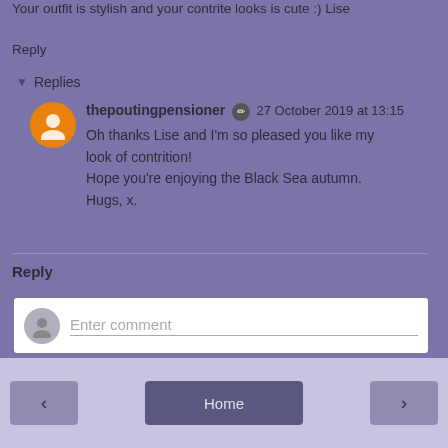Your outfit is stylish and your contrite looks is cute :) Lise
Reply
Replies
thepoutingpensioner 27 October 2019 at 13:15
Oh thanks Lise and I'm so pleased you like my look of contrition!
Hope you're enjoying the Black Sea autumn.
Hugs, x.
Reply
Enter comment
< Home >